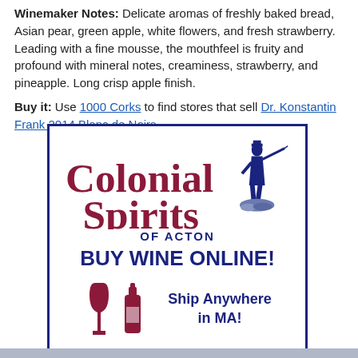Winemaker Notes: Delicate aromas of freshly baked bread, Asian pear, green apple, white flowers, and fresh strawberry. Leading with a fine mousse, the mouthfeel is fruity and profound with mineral notes, creaminess, strawberry, and pineapple. Long crisp apple finish.
Buy it: Use 1000 Corks to find stores that sell Dr. Konstantin Frank 2014 Blanc de Noirs.
[Figure (logo): Colonial Spirits of Acton advertisement. Logo with large stylized C and S in dark red/maroon serif font with 'olonial' and 'pirits' text. Blue silhouette of a colonial minuteman figure holding a rifle. Text: 'OF ACTON' in blue bold caps. 'BUY WINE ONLINE!' in large bold blue. Wine glass and bottle icons in maroon. 'Ship Anywhere in MA!' in bold blue.]